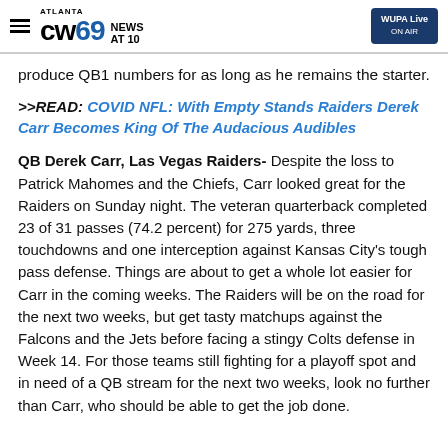ATLANTA CW69 NEWS AT 10 | WUPA Live ON AIR
produce QB1 numbers for as long as he remains the starter.
>>READ: COVID NFL: With Empty Stands Raiders Derek Carr Becomes King Of The Audacious Audibles
QB Derek Carr, Las Vegas Raiders- Despite the loss to Patrick Mahomes and the Chiefs, Carr looked great for the Raiders on Sunday night. The veteran quarterback completed 23 of 31 passes (74.2 percent) for 275 yards, three touchdowns and one interception against Kansas City's tough pass defense. Things are about to get a whole lot easier for Carr in the coming weeks. The Raiders will be on the road for the next two weeks, but get tasty matchups against the Falcons and the Jets before facing a stingy Colts defense in Week 14. For those teams still fighting for a playoff spot and in need of a QB stream for the next two weeks, look no further than Carr, who should be able to get the job done.